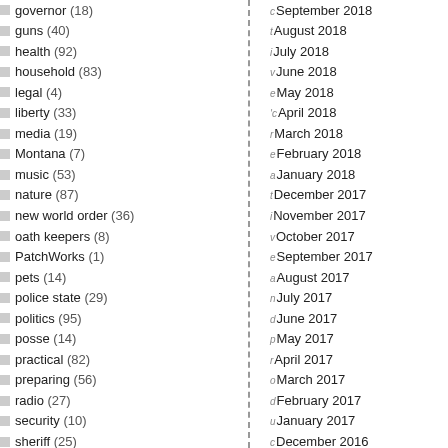governor (18)
guns (40)
health (92)
household (83)
legal (4)
liberty (33)
media (19)
Montana (7)
music (53)
nature (87)
new world order (36)
oath keepers (8)
PatchWorks (1)
pets (14)
police state (29)
politics (95)
posse (14)
practical (82)
preparing (56)
radio (27)
security (10)
sheriff (25)
shooting (5)
technology (49)
Ted Dunlap (125)
tools (9)
transporters (36)
September 2018
August 2018
July 2018
June 2018
May 2018
April 2018
March 2018
February 2018
January 2018
December 2017
November 2017
October 2017
September 2017
August 2017
July 2017
June 2017
May 2017
April 2017
March 2017
February 2017
January 2017
December 2016
November 2016
October 2016
September 2016
August 2016